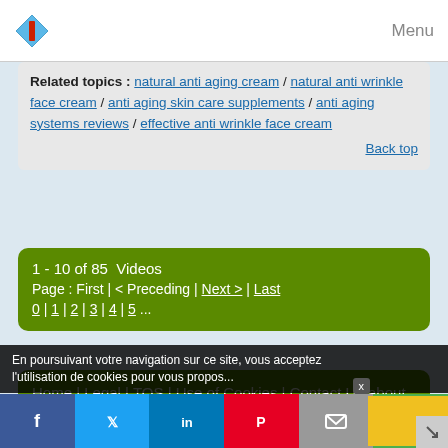Menu
Related topics : natural anti aging cream / natural anti wrinkle face cream / anti aging skin care supplements / anti aging systems reviews / effective anti wrinkle face cream
Back top
1 - 10 of 85  Videos
Page : First | < Preceding | Next > | Last
0 | 1 | 2 | 3 | 4 | 5 ...
Home | Legal | TOS | Use of Cookies | Contact Us about this page
To add or remove a website, check Section 4 of TOS
En poursuivant votre navigation sur ce site, vous acceptez l'utilisation de cookies pour vous propos...